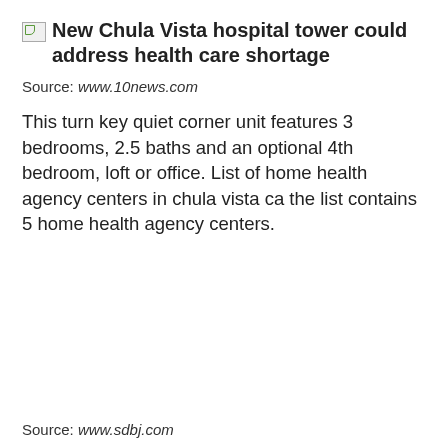New Chula Vista hospital tower could address health care shortage
Source: www.10news.com
This turn key quiet corner unit features 3 bedrooms, 2.5 baths and an optional 4th bedroom, loft or office. List of home health agency centers in chula vista ca the list contains 5 home health agency centers.
Source: www.sdbj.com
Modern 3bd gated townhome with garage crossfit gym. This webpage represents 1235459843 npi